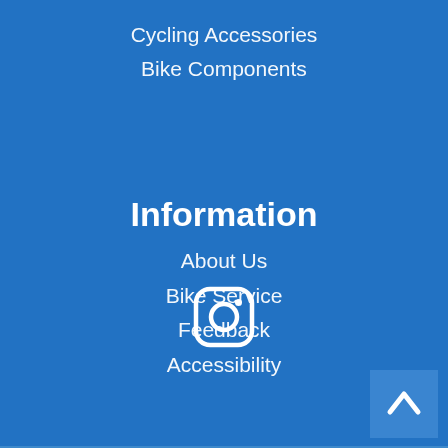Cycling Accessories
Bike Components
Information
About Us
Bike Service
Feedback
Accessibility
[Figure (logo): Instagram icon — white rounded square with circle and dot inside]
[Figure (other): Scroll-to-top button with upward chevron arrow, darker blue square in bottom-right corner]